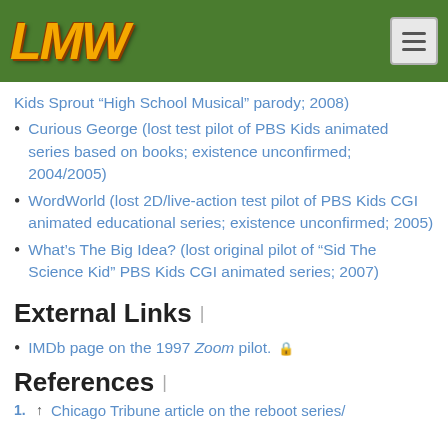LMW logo and navigation menu
Kids Sprout “High School Musical” parody; 2008)
Curious George (lost test pilot of PBS Kids animated series based on books; existence unconfirmed; 2004/2005)
WordWorld (lost 2D/live-action test pilot of PBS Kids CGI animated educational series; existence unconfirmed; 2005)
What’s The Big Idea? (lost original pilot of “Sid The Science Kid” PBS Kids CGI animated series; 2007)
External Links
IMDb page on the 1997 Zoom pilot. 🔒
References
1. ↑ Chicago Tribune article on the reboot series/